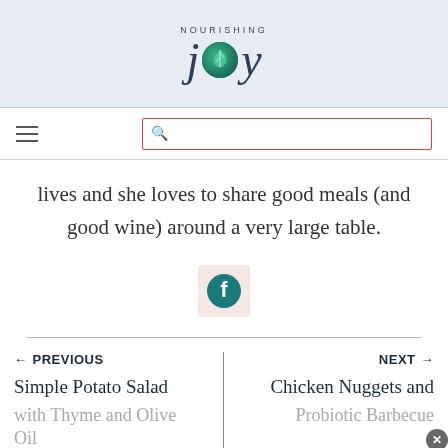NOURISHING joy
[Figure (logo): Nourishing Joy logo with stylized 'joy' text and green leaf circle replacing the 'o']
lives and she loves to share good meals (and good wine) around a very large table.
[Figure (illustration): Facebook icon - teal circle with white 'f' on a light pink/salmon square background]
← PREVIOUS
Simple Potato Salad
with Thyme and Olive
Oil
NEXT →
Chicken Nuggets and
Probiotic Barbecue
Sauce